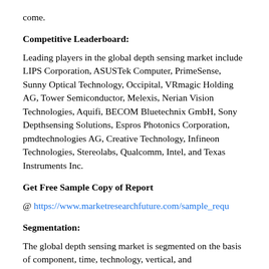come.
Competitive Leaderboard:
Leading players in the global depth sensing market include LIPS Corporation, ASUSTek Computer, PrimeSense, Sunny Optical Technology, Occipital, VRmagic Holding AG, Tower Semiconductor, Melexis, Nerian Vision Technologies, Aquifi, BECOM Bluetechnix GmbH, Sony Depthsensing Solutions, Espros Photonics Corporation, pmdtechnologies AG, Creative Technology, Infineon Technologies, Stereolabs, Qualcomm, Intel, and Texas Instruments Inc.
Get Free Sample Copy of Report
@ https://www.marketresearchfuture.com/sample_requ
Segmentation:
The global depth sensing market is segmented on the basis of component, time, technology, vertical, and